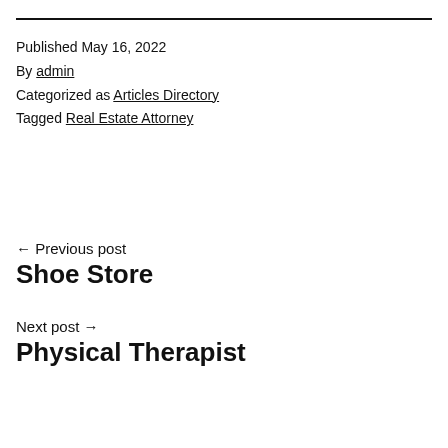Published May 16, 2022
By admin
Categorized as Articles Directory
Tagged Real Estate Attorney
← Previous post
Shoe Store
Next post →
Physical Therapist